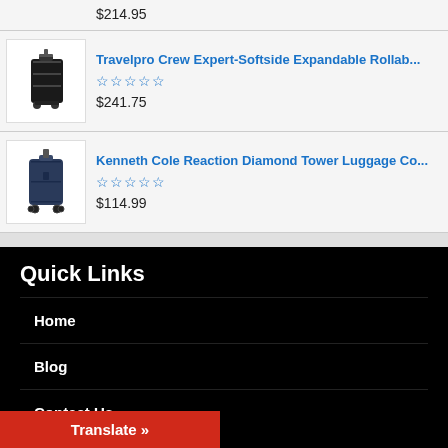$214.95
Travelpro Crew Expert-Softside Expandable Rollab... $241.75
Kenneth Cole Reaction Diamond Tower Luggage Co... $114.99
Quick Links
Home
Blog
Contact Us
Useful Links
Translate »